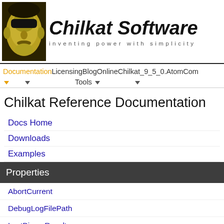[Figure (logo): Chilkat Software logo with stylized green/yellow face and brand name 'Chilkat Software' in bold italic, tagline 'inventing power with simplicity']
Documentation | Licensing | Blog | Online | Chilkat_9_5_0 | AtomCom | Tools
Chilkat Reference Documentation
Docs Home
Downloads
Examples
Properties
AbortCurrent
DebugLogFilePath
LastBinaryResult